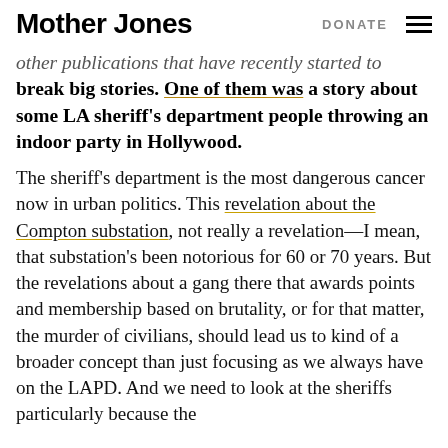Mother Jones | DONATE
other publications that have recently started to break big stories. One of them was a story about some LA sheriff's department people throwing an indoor party in Hollywood.
The sheriff's department is the most dangerous cancer now in urban politics. This revelation about the Compton substation, not really a revelation—I mean, that substation's been notorious for 60 or 70 years. But the revelations about a gang there that awards points and membership based on brutality, or for that matter, the murder of civilians, should lead us to kind of a broader concept than just focusing as we always have on the LAPD. And we need to look at the sheriffs particularly because the